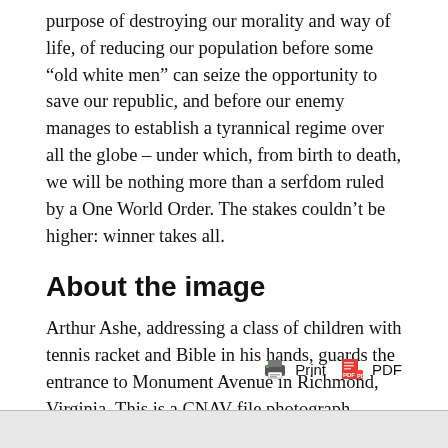purpose of destroying our morality and way of life, of reducing our population before some “old white men” can seize the opportunity to save our republic, and before our enemy manages to establish a tyrannical regime over all the globe – under which, from birth to death, we will be nothing more than a serfdom ruled by a One World Order. The stakes couldn’t be higher: winner takes all.
About the image
Arthur Ashe, addressing a class of children with tennis racket and Bible in his hands, guards the entrance to Monument Avenue in Richmond, Virginia. This is a CNAV file photograph.